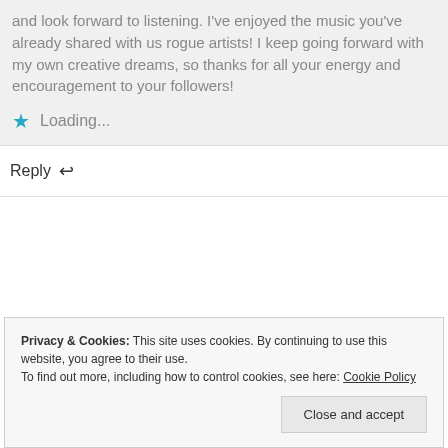and look forward to listening. I've enjoyed the music you've already shared with us rogue artists! I keep going forward with my own creative dreams, so thanks for all your energy and encouragement to your followers!
★ Loading...
Reply ↩
Privacy & Cookies: This site uses cookies. By continuing to use this website, you agree to their use. To find out more, including how to control cookies, see here: Cookie Policy
Close and accept